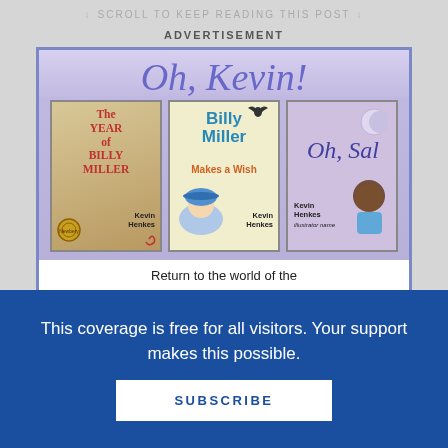↓  SCROLL TO KEEP READING THIS POST  ↓
ADVERTISEMENT
[Figure (illustration): Book advertisement for Kevin Henkes books: 'Oh, Kevin!' banner with three book covers: 'The Year of Billy Miller', 'Billy Miller Makes a Wish', and 'Oh, Sal'. Below the books: 'Return to the world of the Newbery Honor-winning book A YEAR OF BILLY MILLER with Kevin Henkes']
This coverage is free for all visitors. Your support makes this possible.
SUBSCRIBE